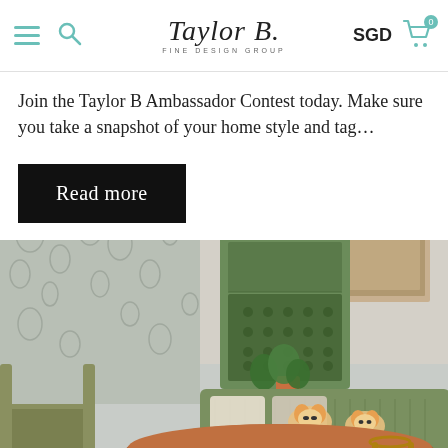Taylor B. Fine Design Group | SGD | Cart (0)
Join the Taylor B Ambassador Contest today. Make sure you take a snapshot of your home style and tag…
Read more
[Figure (photo): Mid-century modern living room interior with green sofa, round tiered coffee table in brown/red, green cabinet with lattice doors, patterned wallpaper, geometric rug, and decorative fox accessories]